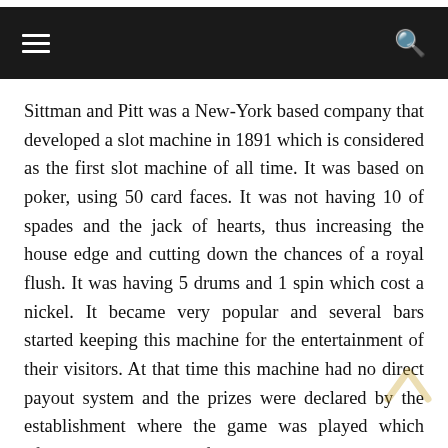≡   🔍
Sittman and Pitt was a New-York based company that developed a slot machine in 1891 which is considered as the first slot machine of all time. It was based on poker, using 50 card faces. It was not having 10 of spades and the jack of hearts, thus increasing the house edge and cutting down the chances of a royal flush. It was having 5 drums and 1 spin which cost a nickel. It became very popular and several bars started keeping this machine for the entertainment of their visitors. At that time this machine had no direct payout system and the prizes were declared by the establishment where the game was played which often included cigars or frees beers.
Liberty Bell – the First